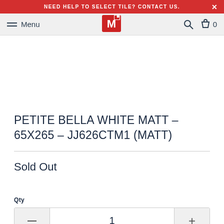NEED HELP TO SELECT TILE? CONTACT US.
Menu
PETITE BELLA WHITE MATT – 65X265 – JJ626CTM1 (MATT)
Sold Out
Qty
1